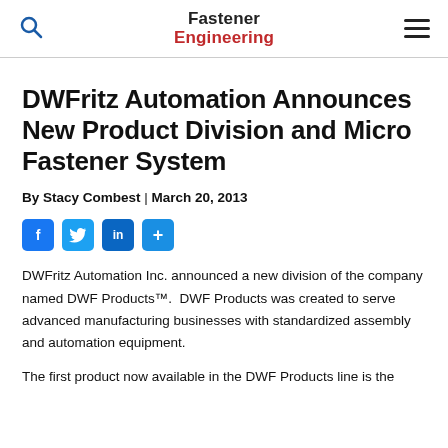Fastener Engineering
DWFritz Automation Announces New Product Division and Micro Fastener System
By Stacy Combest | March 20, 2013
[Figure (infographic): Social sharing buttons: Facebook, Twitter, LinkedIn, Share]
DWFritz Automation Inc. announced a new division of the company named DWF Products™.  DWF Products was created to serve advanced manufacturing businesses with standardized assembly and automation equipment.
The first product now available in the DWF Products line is the